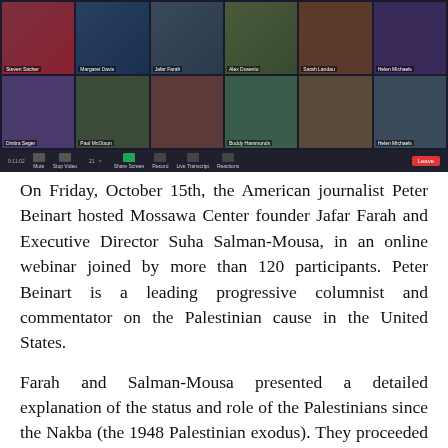[Figure (screenshot): Zoom webinar screenshot showing multiple video participants in a grid layout with toolbar at the bottom including a red Leave button]
On Friday, October 15th, the American journalist Peter Beinart hosted Mossawa Center founder Jafar Farah and Executive Director Suha Salman-Mousa, in an online webinar joined by more than 120 participants. Peter Beinart is a leading progressive columnist and commentator on the Palestinian cause in the United States.
Farah and Salman-Mousa presented a detailed explanation of the status and role of the Palestinians since the Nakba (the 1948 Palestinian exodus). They proceeded to talk about the influence of the Nakba and its' impact on the Palestinian community in the country, as well as the legal, economic and social discrimination they face, as well as the strength of the Palestian and let her access the Palestinian cause before it: